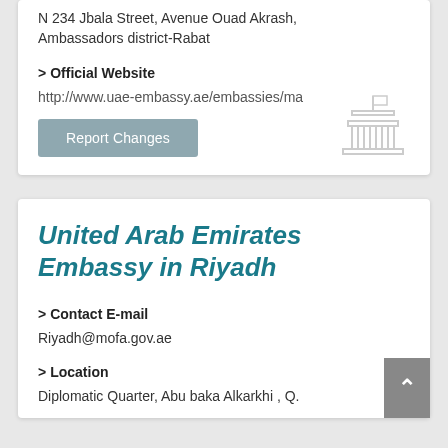N 234 Jbala Street, Avenue Ouad Akrash, Ambassadors district-Rabat
> Official Website
http://www.uae-embassy.ae/embassies/ma
Report Changes
[Figure (illustration): Building/embassy icon in light gray]
United Arab Emirates Embassy in Riyadh
> Contact E-mail
Riyadh@mofa.gov.ae
> Location
Diplomatic Quarter, Abu baka Alkarkhi , Q.